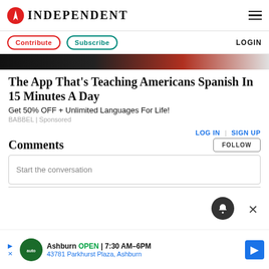INDEPENDENT
[Figure (screenshot): Navigation bar with Contribute and Subscribe buttons and LOGIN link]
[Figure (photo): Partial image strip showing dark and colorful tones at top of article]
The App That's Teaching Americans Spanish In 15 Minutes A Day
Get 50% OFF + Unlimited Languages For Life!
BABBEL | Sponsored
Comments
Start the conversation
[Figure (infographic): Bottom advertisement: Ashburn OPEN 7:30AM-6PM, 43781 Parkhurst Plaza, Ashburn]